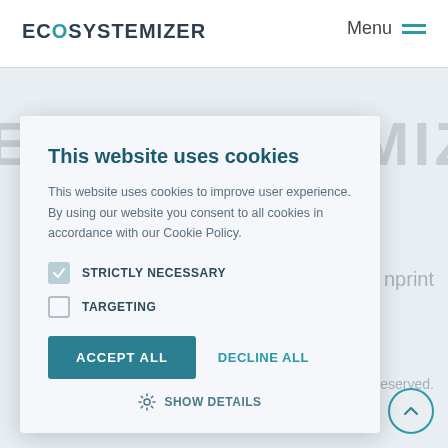ECOSYSTEMIZER  Menu
This website uses cookies
This website uses cookies to improve user experience. By using our website you consent to all cookies in accordance with our Cookie Policy.
STRICTLY NECESSARY
TARGETING
ACCEPT ALL  DECLINE ALL
SHOW DETAILS